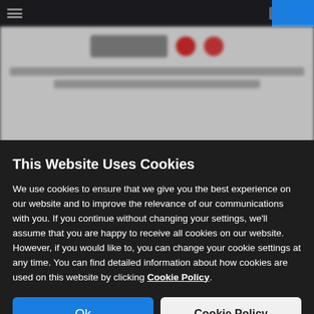[Figure (screenshot): Blurred website background showing a dark browser UI with top navigation bar, a logo area with red icons, blurred text content, and a blue accent bar.]
This Website Uses Cookies
We use cookies to ensure that we give you the best experience on our website and to improve the relevance of our communications with you. If you continue without changing your settings, we'll assume that you are happy to receive all cookies on our website. However, if you would like to, you can change your cookie settings at any time. You can find detailed information about how cookies are used on this website by clicking Cookie Policy.
Ok
Cookie Policy